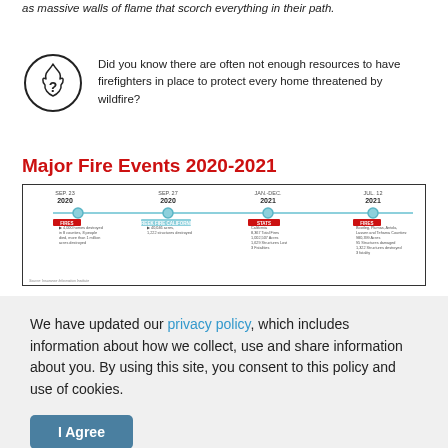as massive walls of flame that scorch everything in their path.
Did you know there are often not enough resources to have firefighters in place to protect every home threatened by wildfire?
Major Fire Events 2020-2021
[Figure (infographic): Timeline of major fire events 2020-2021: SEP. 23 2020 - 4,000 homes destroyed in 8 counties, 8 people died, more than 1 million acres destroyed; SEP. 27 2020 - 40,046 acres, 1,222 structures destroyed; JAN.-DEC. 2021 California - 8,367 Total Fires, 1,002,507 Acres, 1,629 Structures Lost, 3 Fatalities; JUL. 12 2021 - Bootleg, Plumas, Antola, Lassen and Tehama Counties: 900,399 Acres, 95 Structures damaged, 1,322 Structures destroyed, 3 fatality]
Contact us
Please contact us with any media inquiries, or if you are having
We have updated our privacy policy, which includes information about how we collect, use and share information about you. By using this site, you consent to this policy and use of cookies.